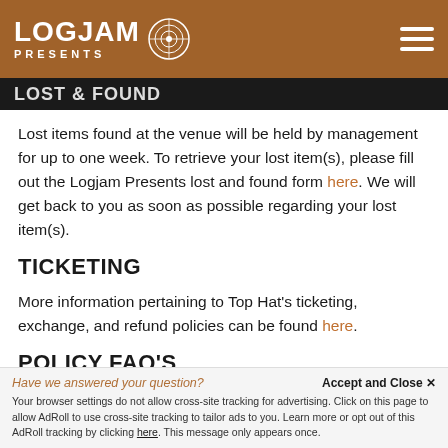LOGJAM PRESENTS
LOST & FOUND
Lost items found at the venue will be held by management for up to one week. To retrieve your lost item(s), please fill out the Logjam Presents lost and found form here. We will get back to you as soon as possible regarding your lost item(s).
TICKETING
More information pertaining to Top Hat's ticketing, exchange, and refund policies can be found here.
POLICY FAQ'S
Have we answered your question? Accept and Close × Your browser settings do not allow cross-site tracking for advertising. Click on this page to allow AdRoll to use cross-site tracking to tailor ads to you. Learn more or opt out of this AdRoll tracking by clicking here. This message only appears once.